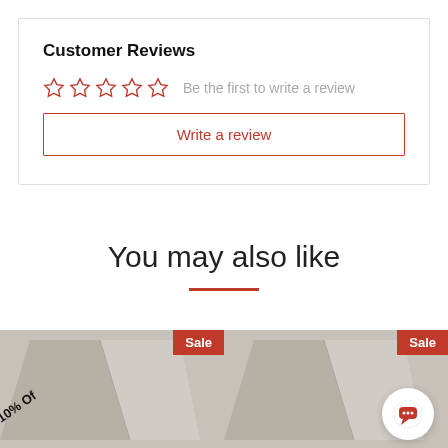Customer Reviews
Be the first to write a review
Write a review
You may also like
[Figure (photo): Product image left with Sale badge]
[Figure (photo): Product image right with Sale badge]